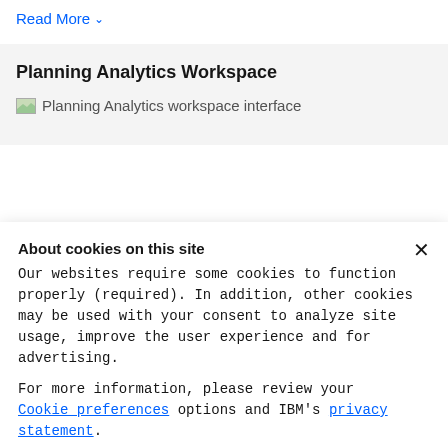Read More ∨
Planning Analytics Workspace
[Figure (screenshot): Planning Analytics workspace interface placeholder image]
About cookies on this site
Our websites require some cookies to function properly (required). In addition, other cookies may be used with your consent to analyze site usage, improve the user experience and for advertising.

For more information, please review your Cookie preferences options and IBM's privacy statement.
Required only
Accept all